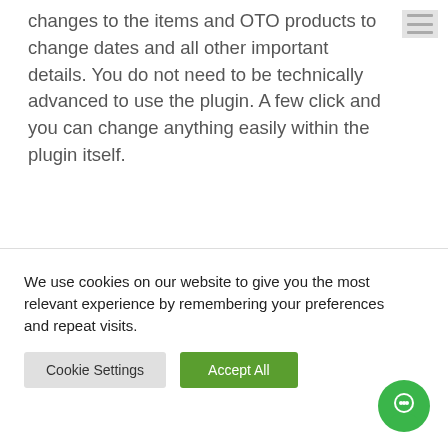changes to the items and OTO products to change dates and all other important details. You do not need to be technically advanced to use the plugin. A few click and you can change anything easily within the plugin itself.
ADVANTAGES
We use cookies on our website to give you the most relevant experience by remembering your preferences and repeat visits.